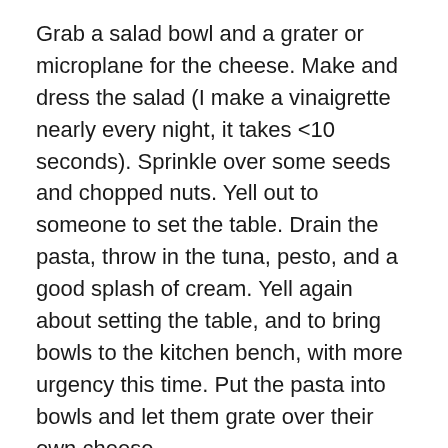Grab a salad bowl and a grater or microplane for the cheese. Make and dress the salad (I make a vinaigrette nearly every night, it takes <10 seconds). Sprinkle over some seeds and chopped nuts. Yell out to someone to set the table. Drain the pasta, throw in the tuna, pesto, and a good splash of cream. Yell again about setting the table, and to bring bowls to the kitchen bench, with more urgency this time. Put the pasta into bowls and let them grate over their own cheese.
The day-before-grocery-shopping desperation dinner
I'm not sure about adding this because I figure everyone already does it, but just in case it helps: Go to the back of